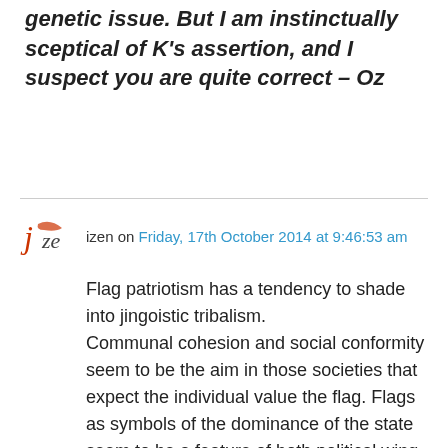genetic issue. But I am instinctually sceptical of K's assertion, and I suspect you are quite correct – Oz
izen on Friday, 17th October 2014 at 9:46:53 am
Flag patriotism has a tendency to shade into jingoistic tribalism. Communal cohesion and social conformity seem to be the aim in those societies that expect the individual value the flag. Flags as symbols of the dominance of the state seem to be a feature of both political wing-tips.
If you can freely chose to declare your allegiance to a Nation, society or sports team by showing respect and pride in symbol of that Nation (etc)